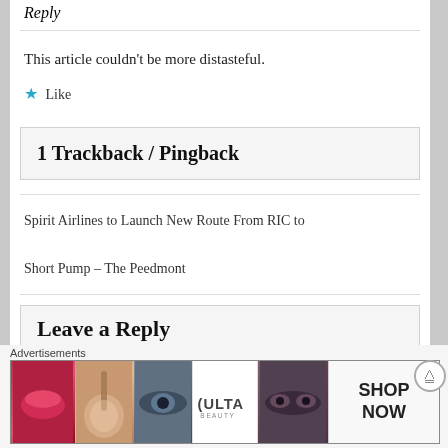Reply
This article couldn't be more distasteful.
★ Like
1 Trackback / Pingback
Spirit Airlines to Launch New Route From RIC to Short Pump – The Peedmont
Leave a Reply
[Figure (infographic): Advertisements banner strip showing makeup/beauty product images (lips, brush, eye, ULTA logo, eyes) and a SHOP NOW button]